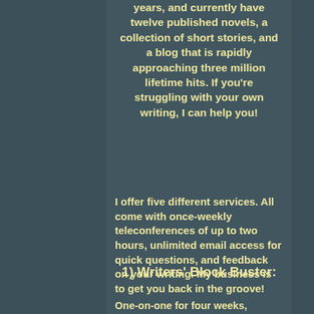years, and currently have twelve published novels, a collection of short stories, and a blog that is rapidly approaching three million lifetime hits.  If you're struggling with your own writing, I can help you!
I offer five different services.  All come with once-weekly teleconferences of up to two hours, unlimited email access for quick questions, and feedback on your writing.  My business is to get you back in the groove!
1) Writers' Block Buster:
One-on-one for four weeks, intended for getting you free of the...